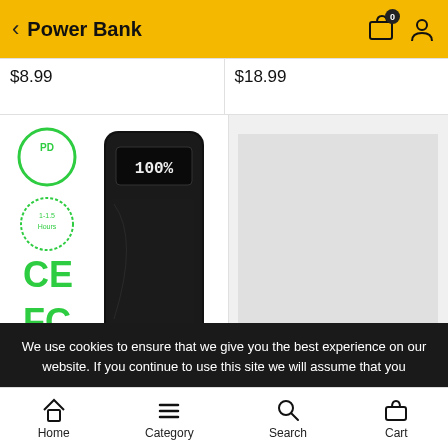Power Bank
$8.99
$18.99
[Figure (photo): Black Cincred power bank with PD, 1-1.5 Hours charging badge, CE and FC certification marks visible on the left side, digital display showing 100%]
[Figure (photo): Gray placeholder image (loading or no image available)]
We use cookies to ensure that we give you the best experience on our website. If you continue to use this site we will assume that you
Home   Category   Search   Cart